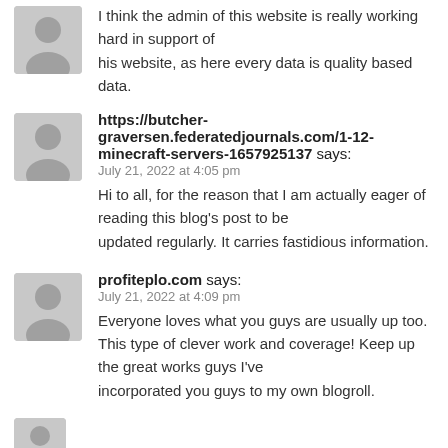I think the admin of this website is really working hard in support of his website, as here every data is quality based data.
https://butcher-graversen.federatedjournals.com/1-12-minecraft-servers-1657925137 says:
July 21, 2022 at 4:05 pm
Hi to all, for the reason that I am actually eager of reading this blog's post to be updated regularly. It carries fastidious information.
profiteplo.com says:
July 21, 2022 at 4:09 pm
Everyone loves what you guys are usually up too. This type of clever work and coverage! Keep up the great works guys I've incorporated you guys to my own blogroll.